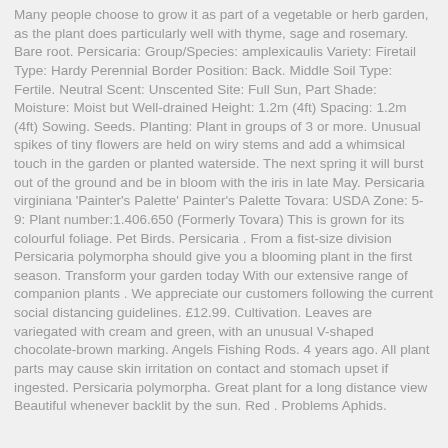Many people choose to grow it as part of a vegetable or herb garden, as the plant does particularly well with thyme, sage and rosemary. Bare root. Persicaria: Group/Species: amplexicaulis Variety: Firetail Type: Hardy Perennial Border Position: Back. Middle Soil Type: Fertile. Neutral Scent: Unscented Site: Full Sun, Part Shade: Moisture: Moist but Well-drained Height: 1.2m (4ft) Spacing: 1.2m (4ft) Sowing. Seeds. Planting: Plant in groups of 3 or more. Unusual spikes of tiny flowers are held on wiry stems and add a whimsical touch in the garden or planted waterside. The next spring it will burst out of the ground and be in bloom with the iris in late May. Persicaria virginiana 'Painter's Palette' Painter's Palette Tovara: USDA Zone: 5-9: Plant number:1.406.650 (Formerly Tovara) This is grown for its colourful foliage. Pet Birds. Persicaria . From a fist-size division Persicaria polymorpha should give you a blooming plant in the first season. Transform your garden today With our extensive range of companion plants . We appreciate our customers following the current social distancing guidelines. £12.99. Cultivation. Leaves are variegated with cream and green, with an unusual V-shaped chocolate-brown marking. Angels Fishing Rods. 4 years ago. All plant parts may cause skin irritation on contact and stomach upset if ingested. Persicaria polymorpha. Great plant for a long distance view Beautiful whenever backlit by the sun. Red . Problems Aphids.